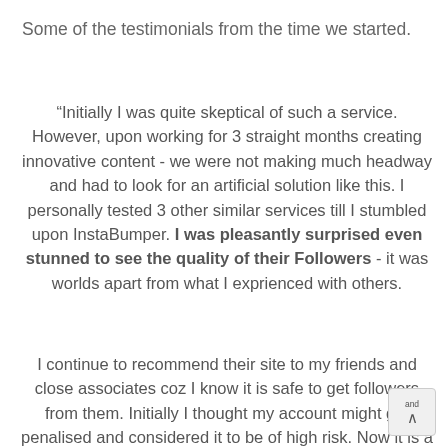Some of the testimonials from the time we started.
“Initially I was quite skeptical of such a service. However, upon working for 3 straight months creating innovative content - we were not making much headway and had to look for an artificial solution like this. I personally tested 3 other similar services till I stumbled upon InstaBumper. I was pleasantly surprised even stunned to see the quality of their Followers - it was worlds apart from what I exprienced with others.
I continue to recommend their site to my friends and close associates coz I know it is safe to get followers from them. Initially I thought my account might get penalised and considered it to be of high risk. Now it is a common